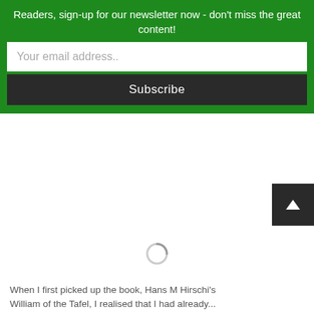Readers, sign-up for our newsletter now - don't miss the great content!
Your email address..
Subscribe
[Figure (other): Loading spinner icon in a white area below the green newsletter banner]
When I first picked up the book, Hans M Hirschi's William of the Tafel, I realised that I had already...